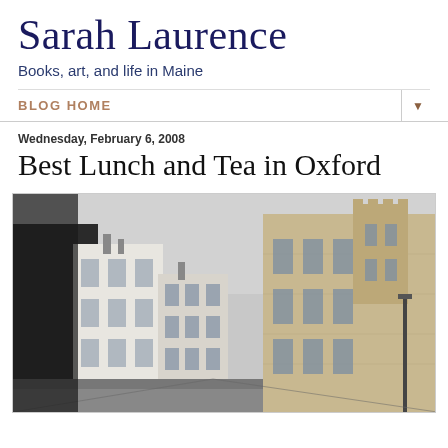Sarah Laurence
Books, art, and life in Maine
BLOG HOME
Wednesday, February 6, 2008
Best Lunch and Tea in Oxford
[Figure (photo): Street-level photograph of Oxford, showing Georgian and medieval stone buildings on a narrow street under an overcast grey sky. On the left are white/cream painted Georgian townhouses with sash windows. On the right is a large Gothic-style stone building with towers and crenellations, typical of Oxford University architecture.]